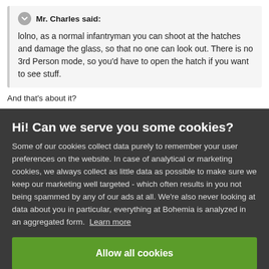Mr. Charles said:
lolno, as a normal infantryman you can shoot at the hatches and damage the glass, so that no one can look out. There is no 3rd Person mode, so you'd have to open the hatch if you want to see stuff.
And that's about it?
Hi! Can we serve you some cookies?
Some of our cookies collect data purely to remember your user preferences on the website. In case of analytical or marketing cookies, we always collect as little data as possible to make sure we keep our marketing well targeted - which often results in you not being spammed by any of our ads at all. We're also never looking at data about you in particular, everything at Bohemia is analyzed in an aggregated form. Learn more
Allow all cookies
I want more options